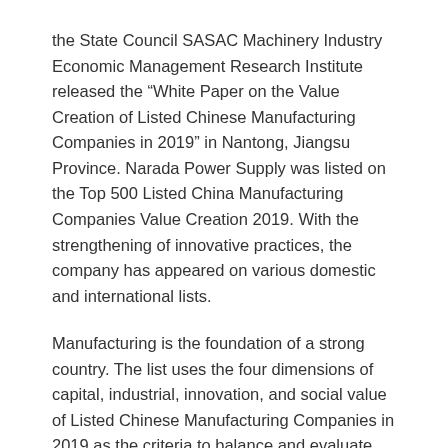the State Council SASAC Machinery Industry Economic Management Research Institute released the “White Paper on the Value Creation of Listed Chinese Manufacturing Companies in 2019” in Nantong, Jiangsu Province. Narada Power Supply was listed on the Top 500 Listed China Manufacturing Companies Value Creation 2019. With the strengthening of innovative practices, the company has appeared on various domestic and international lists.
Manufacturing is the foundation of a strong country. The list uses the four dimensions of capital, industrial, innovation, and social value of Listed Chinese Manufacturing Companies in 2019 as the criteria to balance and evaluate the value creation ability of enterprises.
Unlike many industries, the seemingly “conservative” manufacturing industry has been embracing cutting-edge technology. Narada has never stopped innovating in manufacturing. The company provides systematic products, solutions and operations services with advanced technology.